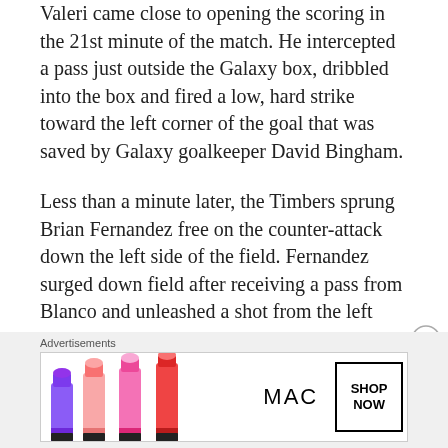Valeri came close to opening the scoring in the 21st minute of the match. He intercepted a pass just outside the Galaxy box, dribbled into the box and fired a low, hard strike toward the left corner of the goal that was saved by Galaxy goalkeeper David Bingham.
Less than a minute later, the Timbers sprung Brian Fernandez free on the counter-attack down the left side of the field. Fernandez surged down field after receiving a pass from Blanco and unleashed a shot from the left wing, but Bingham parried away the attempt.
[Figure (other): Close button (X in circle) for advertisement]
Advertisements
[Figure (photo): MAC Cosmetics advertisement banner showing colorful lipsticks on the left, MAC logo in the center, and a 'SHOP NOW' button on the right]